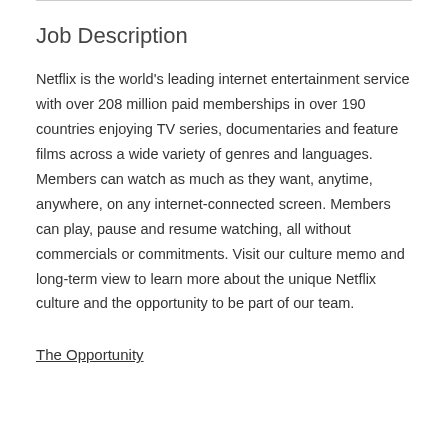Job Description
Netflix is the world's leading internet entertainment service with over 208 million paid memberships in over 190 countries enjoying TV series, documentaries and feature films across a wide variety of genres and languages. Members can watch as much as they want, anytime, anywhere, on any internet-connected screen. Members can play, pause and resume watching, all without commercials or commitments. Visit our culture memo and long-term view to learn more about the unique Netflix culture and the opportunity to be part of our team.
The Opportunity